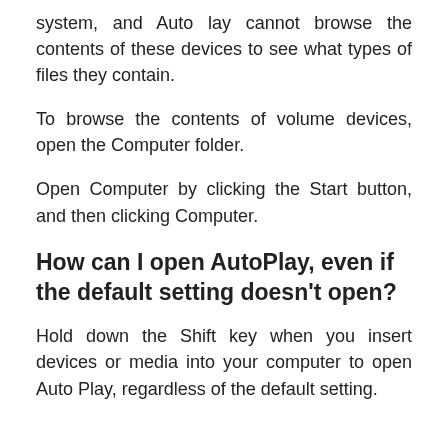system, and Auto lay cannot browse the contents of these devices to see what types of files they contain.
To browse the contents of volume devices, open the Computer folder.
Open Computer by clicking the Start button, and then clicking Computer.
How can I open AutoPlay, even if the default setting doesn't open?
Hold down the Shift key when you insert devices or media into your computer to open Auto Play, regardless of the default setting.